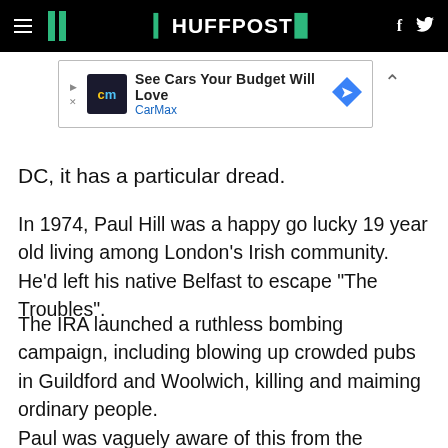HUFFPOST
[Figure (screenshot): CarMax advertisement banner: See Cars Your Budget Will Love, CarMax]
DC, it has a particular dread.
In 1974, Paul Hill was a happy go lucky 19 year old living among London's Irish community. He'd left his native Belfast to escape "The Troubles".
The IRA launched a ruthless bombing campaign, including blowing up crowded pubs in Guildford and Woolwich, killing and maiming ordinary people.
Paul was vaguely aware of this from the newspapers and TV but he was busy searching